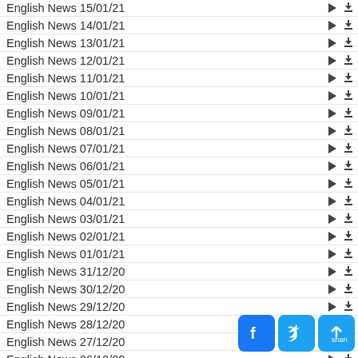English News 15/01/21
English News 14/01/21
English News 13/01/21
English News 12/01/21
English News 11/01/21
English News 10/01/21
English News 09/01/21
English News 08/01/21
English News 07/01/21
English News 06/01/21
English News 05/01/21
English News 04/01/21
English News 03/01/21
English News 02/01/21
English News 01/01/21
English News 31/12/20
English News 30/12/20
English News 29/12/20
English News 28/12/20
English News 27/12/20
English News 26/12/20